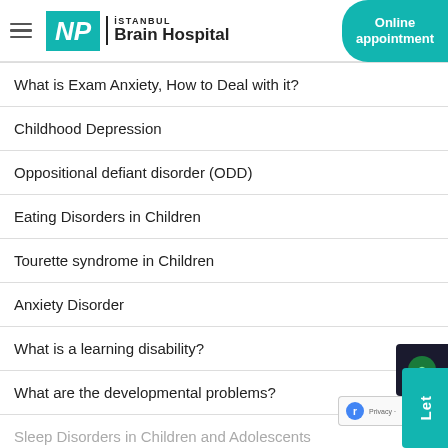NP İSTANBUL Brain Hospital | Online appointment
What is Exam Anxiety, How to Deal with it?
Childhood Depression
Oppositional defiant disorder (ODD)
Eating Disorders in Children
Tourette syndrome in Children
Anxiety Disorder
What is a learning disability?
What are the developmental problems?
Sleep Disorders in Children and Adolescents